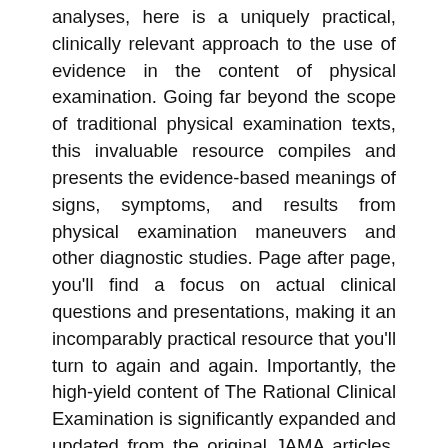analyses, here is a uniquely practical, clinically relevant approach to the use of evidence in the content of physical examination. Going far beyond the scope of traditional physical examination texts, this invaluable resource compiles and presents the evidence-based meanings of signs, symptoms, and results from physical examination maneuvers and other diagnostic studies. Page after page, you'll find a focus on actual clinical questions and presentations, making it an incomparably practical resource that you'll turn to again and again. Importantly, the high-yield content of The Rational Clinical Examination is significantly expanded and updated from the original JAMA articles, much of it published here for the first time. It all adds up to a definitive, ready-to-use clinical exam sourcebook that no student or clinician should be without. FEATURES All the